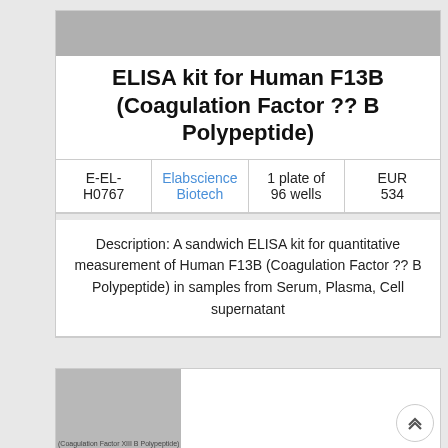ELISA kit for Human F13B (Coagulation Factor ?? B Polypeptide)
| E-EL-H0767 | Elabscience Biotech | 1 plate of 96 wells | EUR 534 |
| --- | --- | --- | --- |
Description: A sandwich ELISA kit for quantitative measurement of Human F13B (Coagulation Factor ?? B Polypeptide) in samples from Serum, Plasma, Cell supernatant
[Figure (photo): Bottom partial view of another product card with gray image placeholder, partially visible text reading (Coagulation Factor XIII B Polypeptide)]